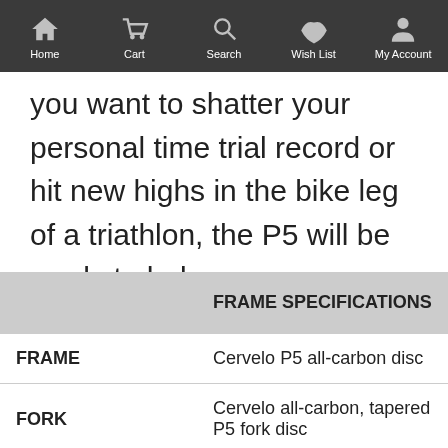Home  Cart  Search  Wish List  My Account
you want to shatter your personal time trial record or hit new highs in the bike leg of a triathlon, the P5 will be ready to help.
|  | FRAME SPECIFICATIONS |
| --- | --- |
| FRAME | Cervelo P5 all-carbon disc |
| FORK | Cervelo all-carbon, tapered P5 fork disc |